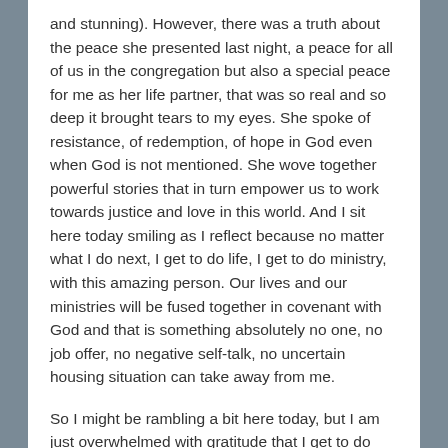and stunning). However, there was a truth about the peace she presented last night, a peace for all of us in the congregation but also a special peace for me as her life partner, that was so real and so deep it brought tears to my eyes. She spoke of resistance, of redemption, of hope in God even when God is not mentioned. She wove together powerful stories that in turn empower us to work towards justice and love in this world. And I sit here today smiling as I reflect because no matter what I do next, I get to do life, I get to do ministry, with this amazing person. Our lives and our ministries will be fused together in covenant with God and that is something absolutely no one, no job offer, no negative self-talk, no uncertain housing situation can take away from me.
So I might be rambling a bit here today, but I am just overwhelmed with gratitude that I get to do ministry as my life's calling. I am just overjoyed that I never have to do this work alone. And I am just overcome